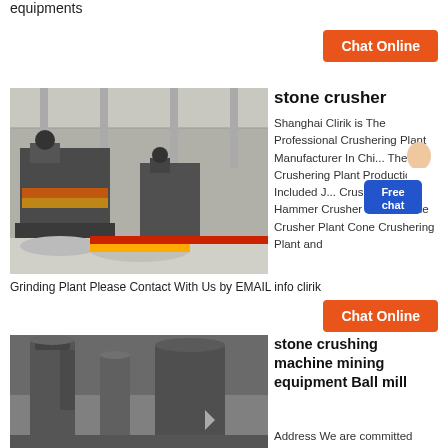equipments
[Figure (screenshot): Orange 'Chat Online' button]
[Figure (photo): Industrial stone crusher machines in a factory setting]
stone crusher
Shanghai Clirik is The Professional Crushering Plant Manufacturer In Chi... The Crushering Plant Productions Included J... Crusher Plant Hammer Crusher Plant Mobile Crusher Plant Cone Crushering Plant and Grinding Plant Please Contact With Us by EMAIL info clirik
[Figure (illustration): Customer service representative illustration with Free chat box]
[Figure (screenshot): Orange 'Chat Online' button]
[Figure (photo): Industrial grinding/ball mill equipment in a factory]
stone crushing machine mining equipment Ball mill
Address We are committed